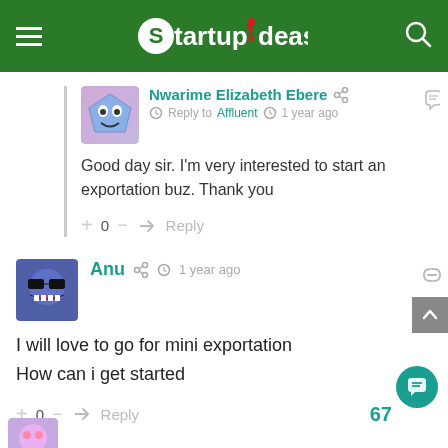Startup Ideas
Nwarime Elizabeth Ebere — Reply to Affluent · 1 year ago
Good day sir. I'm very interested to start an exportation buz. Thank you
Anu · 1 year ago
I will love to go for mini exportation
How can i get started